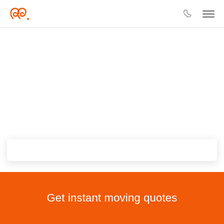[Figure (logo): Orange cursive double-loop logo mark with a dot, resembling stylized '99' or cursive letters in orange]
Get instant moving quotes